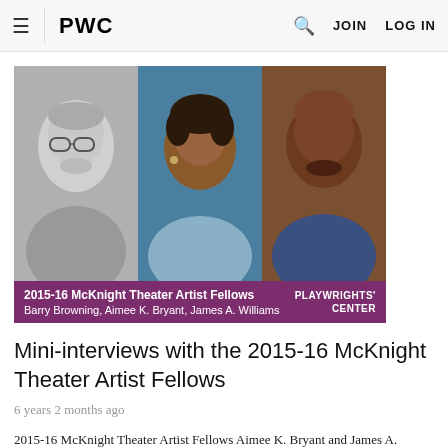PWC  JOIN  LOG IN
[Figure (photo): Three headshots side by side: Barry Browning (black and white), Aimee K. Bryant (color, blue background), James A. Williams (color, brown background). Caption reads: 2015-16 McKnight Theater Artist Fellows — Barry Browning, Aimee K. Bryant, James A. Williams. Playwrights' Center logo on right.]
Mini-interviews with the 2015-16 McKnight Theater Artist Fellows
6 years 2 months ago
2015-16 McKnight Theater Artist Fellows Aimee K. Bryant and James A. Williams are presenting works in progress at the Southern Theater on Tuesday, June 28 at 7 p.m. See event